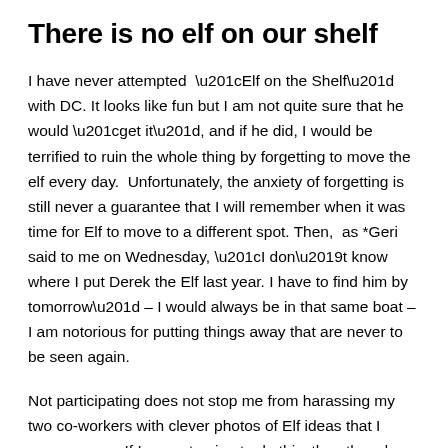There is no elf on our shelf
I have never attempted “Elf on the Shelf” with DC. It looks like fun but I am not quite sure that he would “get it”, and if he did, I would be terrified to ruin the whole thing by forgetting to move the elf every day.  Unfortunately, the anxiety of forgetting is still never a guarantee that I will remember when it was time for Elf to move to a different spot. Then,  as *Geri said to me on Wednesday, “I don’t know where I put Derek the Elf last year. I have to find him by tomorrow” – I would always be in that same boat – I am notorious for putting things away that are never to be seen again.
Not participating does not stop me from harassing my two co-workers with clever photos of Elf ideas that I come across. If I am not going to do this, then they darn well